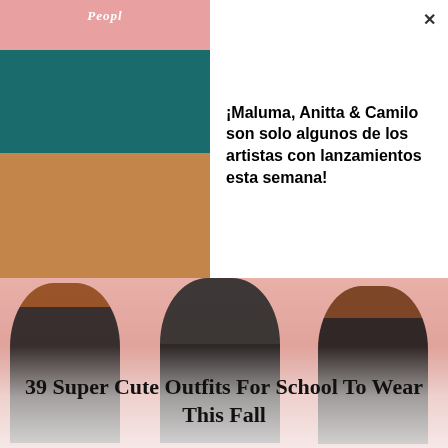[Figure (screenshot): Advertisement overlay with People magazine branding showing an interior room scene on the left and Spanish text on the right with a close button]
¡Maluma, Anitta & Camilo son solo algunos de los artistas con lanzamientos esta semana!
[Figure (photo): Three young women posing against a pink background, all wearing black leather jackets. The center woman has long dark hair and a crop top. The right woman wears a shirt reading 'BAD BOY GOOD GI'.]
39 Super Cute Outfits For School To Wear This Fall